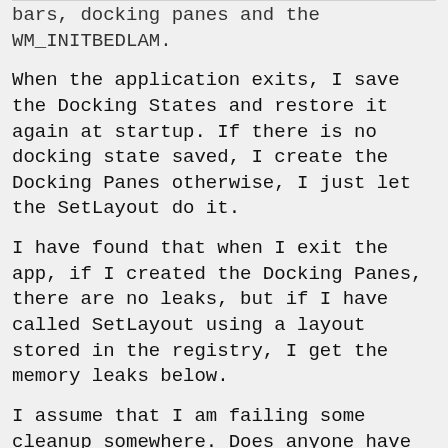bars, docking panes and the WM_INITBEDLAM.
When the application exits, I save the Docking States and restore it again at startup. If there is no docking state saved, I create the Docking Panes otherwise, I just let the SetLayout do it.
I have found that when I exit the app, if I created the Docking Panes, there are no leaks, but if I have called SetLayout using a layout stored in the registry, I get the memory leaks below.
I assume that I am failing some cleanup somewhere. Does anyone have suggestions?
c:\program files\codejock software\mfc\xtreme toolkitpro v11.2.2\source\dockingpane\xtpdockingpanemanager.cpp(397) : {2386} client block at 0x08004668, subtype c0, 88 bytes long.